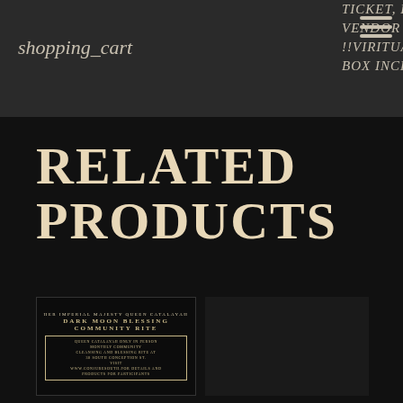shopping_cart
TICKET, FULL WEEKEND VENDOR TICKET, !!VIRITUAL TICKET ( NO BOX INCLUDED
RELATED PRODUCTS
[Figure (photo): Dark Moon Blessing Community Rite product thumbnail with decorative border and event details text]
[Figure (photo): Dark earth/soil product in a glass jar with moon imagery in background]